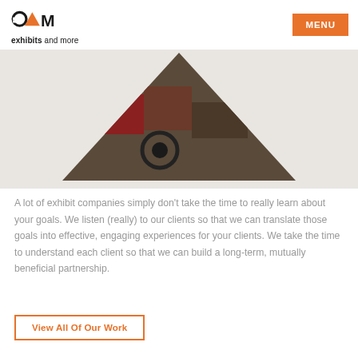exhibits and more | MENU
[Figure (photo): Downward-pointing triangle shaped photo of a trade show exhibit floor with displays and a bicycle wheel visible]
A lot of exhibit companies simply don't take the time to really learn about your goals. We listen (really) to our clients so that we can translate those goals into effective, engaging experiences for your clients. We take the time to understand each client so that we can build a long-term, mutually beneficial partnership.
View All Of Our Work